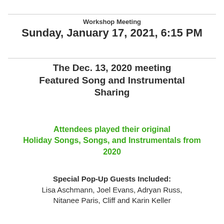Workshop Meeting
Sunday, January 17, 2021, 6:15 PM
The Dec. 13, 2020 meeting Featured Song and Instrumental Sharing
Attendees played their original Holiday Songs, Songs, and Instrumentals from 2020
Special Pop-Up Guests Included:
Lisa Aschmann, Joel Evans, Adryan Russ, Nitanee Paris, Cliff and Karin Keller